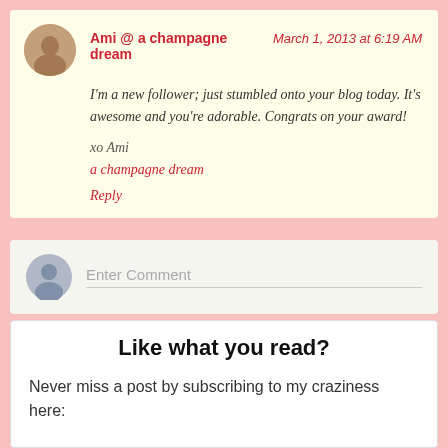Ami @ a champagne dream  March 1, 2013 at 6:19 AM
I'm a new follower; just stumbled onto your blog today. It's awesome and you're adorable. Congrats on your award!

xo Ami
a champagne dream
Reply
Enter Comment
Like what you read?
Never miss a post by subscribing to my craziness here: